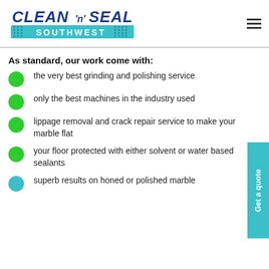Clean 'n' Seal Southwest
As standard, our work come with:
the very best grinding and polishing service
only the best machines in the industry used
lippage removal and crack repair service to make your marble flat
your floor protected with either solvent or water based sealants
superb results on honed or polished marble